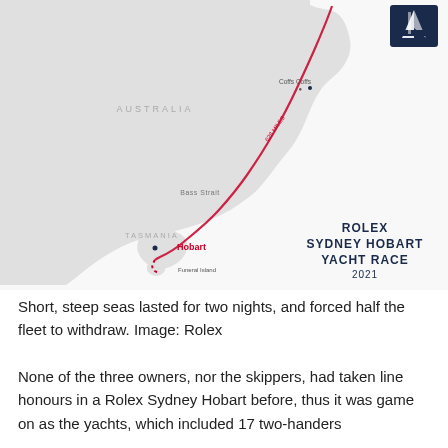[Figure (map): Map showing the route of the Rolex Sydney Hobart Yacht Race 2021, with a red dotted/solid line tracing from Sydney south along the Australian east coast past Cape Byron, Bass Strait, to Hobart in Tasmania. Labeled locations include Coffs Harbour, Bass Strait, Hobart, and Funeral Island. The map shows eastern Australia and Tasmania in light grey. A Rolex Sydney Hobart Yacht Race 2021 logo/title appears bottom right. A sailing logo appears top right corner.]
Short, steep seas lasted for two nights, and forced half the fleet to withdraw. Image: Rolex
None of the three owners, nor the skippers, had taken line honours in a Rolex Sydney Hobart before, thus it was game on as the yachts, which included 17 two-handers